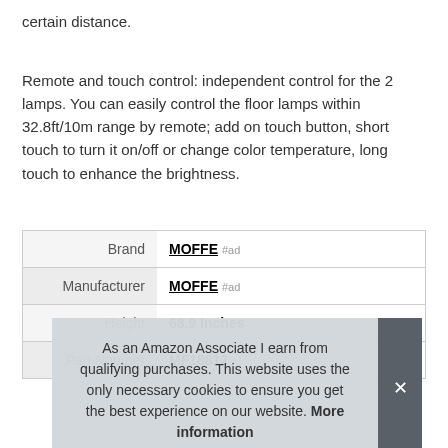certain distance.

Remote and touch control: independent control for the 2 lamps. You can easily control the floor lamps within 32.8ft/10m range by remote; add on touch button, short touch to turn it on/off or change color temperature, long touch to enhance the brightness.
|  |  |
| --- | --- |
| Brand | MOFFE #ad |
| Manufacturer | MOFFE #ad |
| Height | 68.9 Inches |
| Part Number | MF18812 |
As an Amazon Associate I earn from qualifying purchases. This website uses the only necessary cookies to ensure you get the best experience on our website. More information